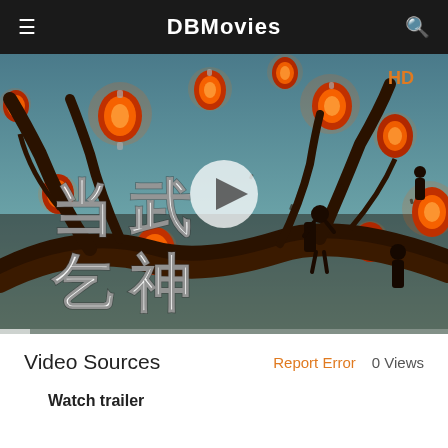DBMovies
[Figure (screenshot): Animated Chinese movie thumbnail showing silhouettes of figures on tree branches with glowing red lanterns. Chinese characters on left side. HD badge top right. Play button in center. Progress bar at bottom.]
Video Sources
Report Error   0 Views
Watch trailer